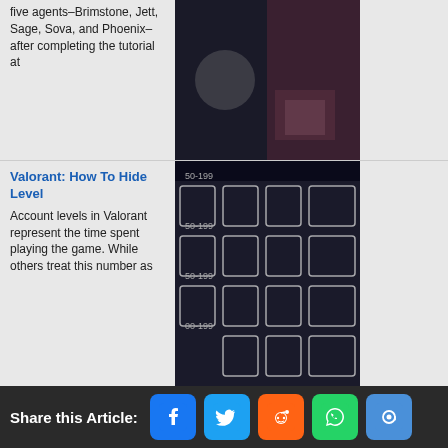five agents–Brimstone, Jett, Sage, Sova, and Phoenix–after completing the tutorial at
[Figure (screenshot): Screenshot of a dark game scene]
Valorant: How To Hide Level
Account levels in Valorant represent the time spent playing the game. While others treat this number as
[Figure (screenshot): Screenshot showing Valorant level icons grid]
[Top 10] SFV Most Played Characters Loved By Millions Worldwide
Who are the most popular characters in Street Fighter? Ever
[Figure (screenshot): Screenshot of Street Fighter V character in fighting pose]
[Top 15] SFV Best Graphics Settings (Updated for 2022)
Do you want to know what are the best graphics settings for SFV on PC? Find out
[Figure (screenshot): Screenshot of SFV graphics settings menu]
Share this Article: